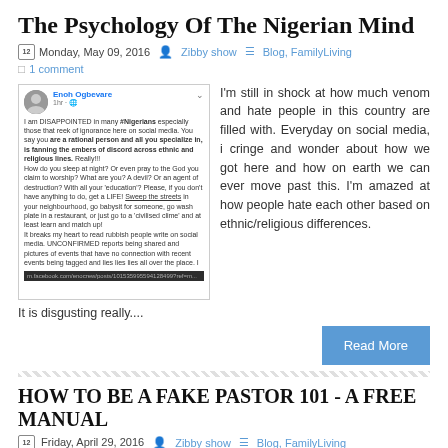The Psychology Of The Nigerian Mind
Monday, May 09, 2016  Zibby show  Blog, FamilyLiving  1 comment
[Figure (screenshot): Facebook post screenshot by Enoh Ogbevare expressing disappointment at Nigerians on social media regarding ethnic and religious discord]
I'm still in shock at how much venom and hate people in this country are filled with. Everyday on social media, i cringe and wonder about how we got here and how on earth we can ever move past this. I'm amazed at how people hate each other based on ethnic/religious differences.
It is disgusting really....
Read More
HOW TO BE A FAKE PASTOR 101 - A FREE MANUAL
Friday, April 29, 2016  Zibby show  Blog, FamilyLiving